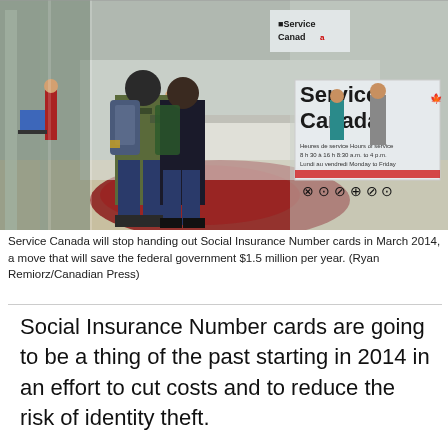[Figure (photo): Interior of a Service Canada office. Two people with backpacks face a glass door entrance. Service Canada signage is visible on glass panels and on a large sign to the right. Office counter and staff visible in background. Hours of service information posted on the glass.]
Service Canada will stop handing out Social Insurance Number cards in March 2014, a move that will save the federal government $1.5 million per year. (Ryan Remiorz/Canadian Press)
Social Insurance Number cards are going to be a thing of the past starting in 2014 in an effort to cut costs and to reduce the risk of identity theft.